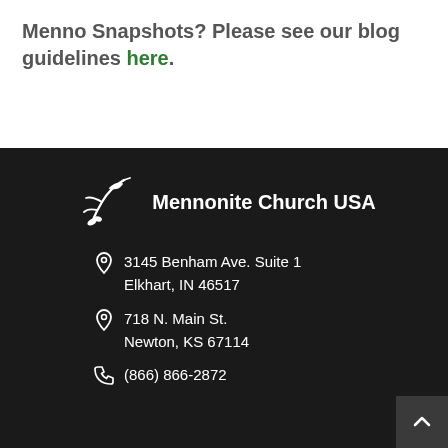Menno Snapshots? Please see our blog guidelines here.
[Figure (logo): Mennonite Church USA logo — stylized dove/branch SVG icon in white with text 'Mennonite Church USA']
3145 Benham Ave. Suite 1
Elkhart, IN 46517
718 N. Main St.
Newton, KS 67114
(866) 866-2872